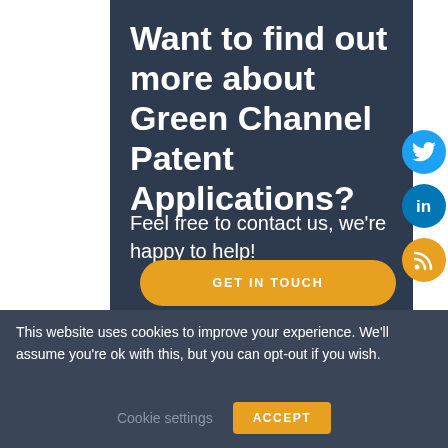Want to find out more about Green Channel Patent Applications?
Feel free to contact us, we're happy to help!
GET IN TOUCH
[Figure (infographic): Three social media icons arranged vertically on the right side: Twitter (blue circle), LinkedIn (dark blue circle), RSS feed (orange circle)]
This website uses cookies to improve your experience. We'll assume you're ok with this, but you can opt-out if you wish.
Cookie settings
ACCEPT